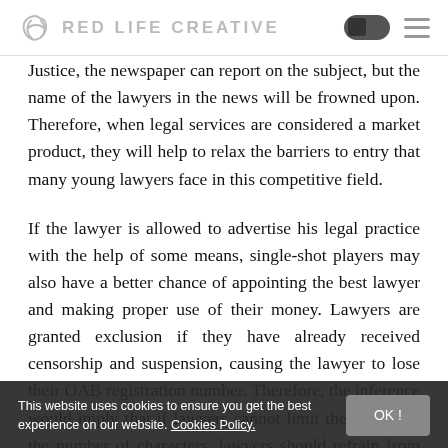RED LIFE CREATIVE
Justice, the newspaper can report on the subject, but the name of the lawyers in the news will be frowned upon. Therefore, when legal services are considered a market product, they will help to relax the barriers to entry that many young lawyers face in this competitive field.

If the lawyer is allowed to advertise his legal practice with the help of some means, single-shot players may also have a better chance of appointing the best lawyer and making proper use of their money. Lawyers are granted exclusion if they have already received censorship and suspension, causing the lawyer to lose their OAB registration number. Therefore, the inference would imply that if lawyers cannot limit the ad within the number of characters, lawyers should refrain from using technology. When a lawyer is invited to clarify a legal matter of general interest to the public, the lawyer should avoid allusions that could be understood as personal
This website uses cookies to ensure you get the best experience on our website. Cookies Policy.